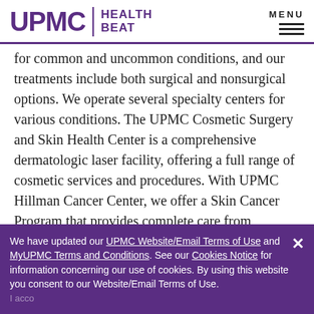UPMC | HEALTH BEAT  MENU
for common and uncommon conditions, and our treatments include both surgical and nonsurgical options. We operate several specialty centers for various conditions. The UPMC Cosmetic Surgery and Skin Health Center is a comprehensive dermatologic laser facility, offering a full range of cosmetic services and procedures. With UPMC Hillman Cancer Center, we offer a Skin Cancer Program that provides complete care from screenings, diagnosis, treatment, and beyond. Find a
We have updated our UPMC Website/Email Terms of Use and MyUPMC Terms and Conditions. See our Cookies Notice for information concerning our use of cookies. By using this website you consent to our Website/Email Terms of Use.